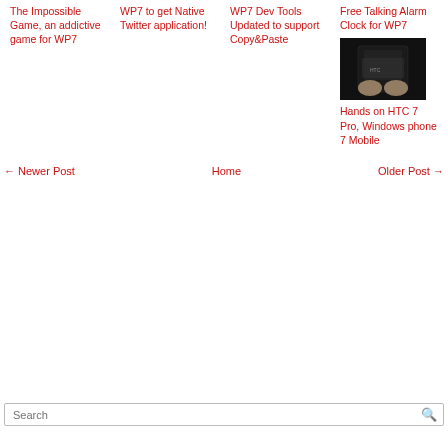The Impossible Game, an addictive game for WP7
WP7 to get Native Twitter application!
WP7 Dev Tools Updated to support Copy&Paste
Free Talking Alarm Clock for WP7
[Figure (photo): Hands holding HTC 7 Pro device against dark background]
Hands on HTC 7 Pro, Windows phone 7 Mobile
← Newer Post
Home
Older Post →